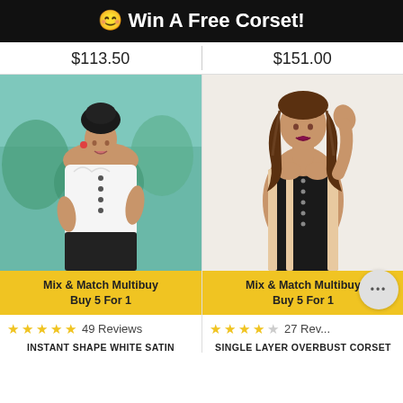😊 Win A Free Corset!
$113.50
$151.00
[Figure (photo): Model wearing white satin corset top with black high-waisted pants, standing in front of colourful mural]
Mix & Match Multibuy
Buy 5 For 1
[Figure (photo): Model wearing black and beige single layer overbust corset, posing against white wall]
Mix & Match Multibuy
Buy 5 For 1
⭐⭐⭐⭐⭐ 49 Reviews
INSTANT SHAPE WHITE SATIN
⭐⭐⭐⭐½ 27 Reviews
SINGLE LAYER OVERBUST CORSET